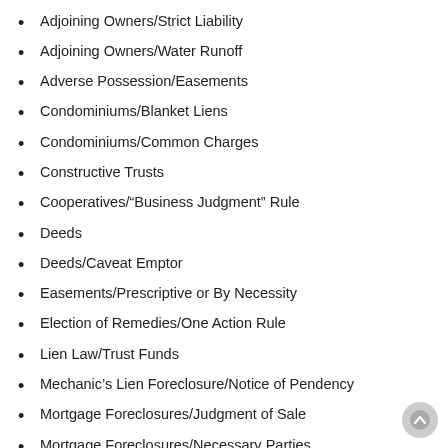Adjoining Owners/Strict Liability
Adjoining Owners/Water Runoff
Adverse Possession/Easements
Condominiums/Blanket Liens
Condominiums/Common Charges
Constructive Trusts
Cooperatives/“Business Judgment” Rule
Deeds
Deeds/Caveat Emptor
Easements/Prescriptive or By Necessity
Election of Remedies/One Action Rule
Lien Law/Trust Funds
Mechanic’s Lien Foreclosure/Notice of Pendency
Mortgage Foreclosures/Judgment of Sale
Mortgage Foreclosures/Necessary Parties
Mortgage Foreclosures/Notes
Mortgage Foreclosures/Notices RPAPL Section 1304
Mortgage Foreclosures/Referee’s Report
Mortgage Foreclosures/Standing
Mortgage Foreclosures/Standing/RPAPL Section…